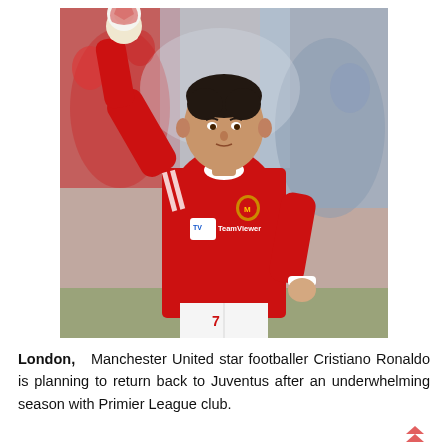[Figure (photo): Cristiano Ronaldo in Manchester United red jersey number 7 with TeamViewer sponsor, holding a football above his head with one hand, standing on a football pitch with blurred crowd in background.]
London,  Manchester United star footballer Cristiano Ronaldo is planning to return back to Juventus after an underwhelming season with Primier League club.